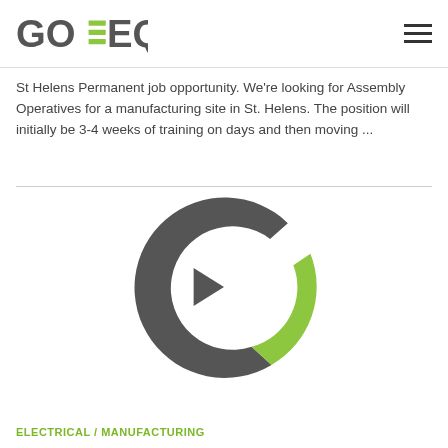GOTEQ
St Helens Permanent job opportunity. We’re looking for Assembly Operatives for a manufacturing site in St. Helens. The position will initially be 3-4 weeks of training on days and then moving ...
[Figure (logo): GoTeq circular G logo in dark grey with a lime green segment cutout]
ELECTRICAL / MANUFACTURING